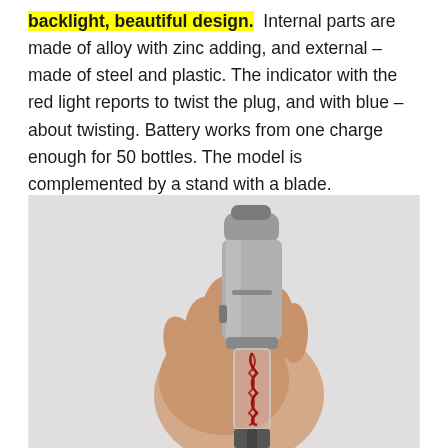backlight, beautiful design. Internal parts are made of alloy with zinc adding, and external – made of steel and plastic. The indicator with the red light reports to twist the plug, and with blue – about twisting. Battery works from one charge enough for 50 bottles. The model is complemented by a stand with a blade.
[Figure (photo): A hand holding an electric wine opener/corkscrew device. The device is metallic silver/steel colored on top with a transparent lower section showing a corkscrew inside. The background is light grey.]